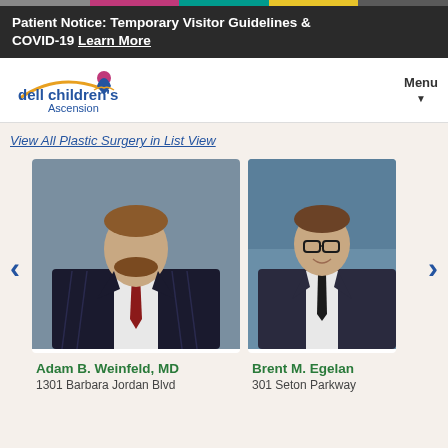Patient Notice: Temporary Visitor Guidelines & COVID-19 Learn More
[Figure (logo): Dell Children's Ascension logo with stylized star/person icon in blue, red, and gold]
View All Plastic Surgery in List View
[Figure (photo): Professional headshot of Adam B. Weinfeld, MD - man with beard wearing dark pinstripe suit with red tie]
Adam B. Weinfeld, MD
1301 Barbara Jordan Blvd
[Figure (photo): Professional headshot of Brent M. Egeland - man with glasses wearing dark suit, smiling]
Brent M. Egeland
301 Seton Parkway